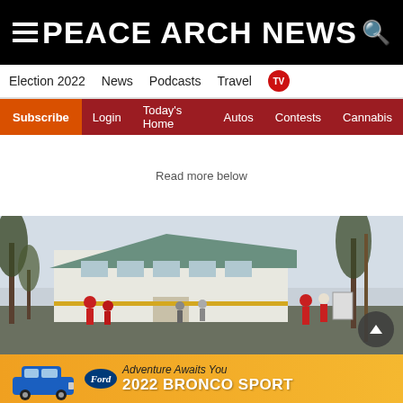PEACE ARCH NEWS
Election 2022  News  Podcasts  Travel  TV
Subscribe  Login  Today's Home  Autos  Contests  Cannabis
Read more below
[Figure (photo): Outdoor scene of a building with people gathered outside, trees visible, overcast light. Appears to be a community or civic building.]
[Figure (infographic): Ford 2022 Bronco Sport advertisement banner with orange background. Shows blue Ford Bronco Sport SUV on the left, Ford oval logo, and text 'Adventure Awaits You 2022 BRONCO SPORT'.]